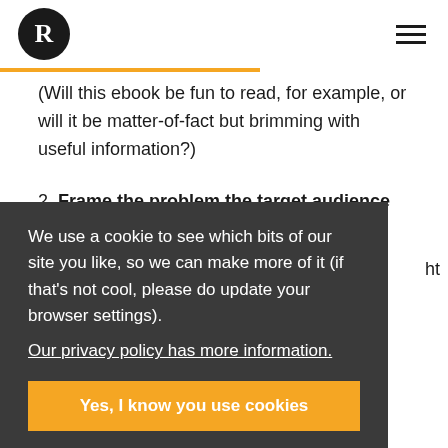R [logo] [hamburger menu]
(Will this ebook be fun to read, for example, or will it be matter-of-fact but brimming with useful information?)
2. Frame the problem the target audience is facing. Articulate the main issue your
We use a cookie to see which bits of our site you like, so we can make more of it (if that’s not cool, please do update your browser settings).
Our privacy policy has more information.
Yes, I know you use cookies
3. Define who will get value from the